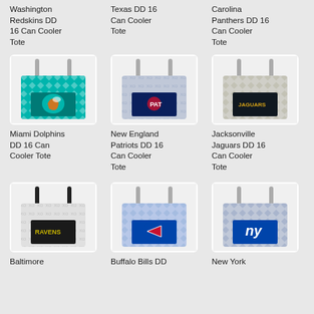Washington Redskins DD 16 Can Cooler Tote
Texas DD 16 Can Cooler Tote
Carolina Panthers DD 16 Can Cooler Tote
[Figure (photo): Miami Dolphins DD 16 Can Cooler Tote - teal patterned tote bag with dolphins logo]
[Figure (photo): New England Patriots DD 16 Can Cooler Tote - navy patterned tote bag with Patriots logo]
[Figure (photo): Jacksonville Jaguars DD 16 Can Cooler Tote - black patterned tote bag with Jaguars logo]
Miami Dolphins DD 16 Can Cooler Tote
New England Patriots DD 16 Can Cooler Tote
Jacksonville Jaguars DD 16 Can Cooler Tote
[Figure (photo): Baltimore Ravens DD 16 Can Cooler Tote - black patterned tote bag with Ravens logo]
[Figure (photo): Buffalo Bills DD 16 Can Cooler Tote - blue patterned tote bag with Bills logo]
[Figure (photo): New York Giants DD 16 Can Cooler Tote - blue patterned tote bag with NY Giants logo]
Baltimore
Buffalo Bills DD
New York